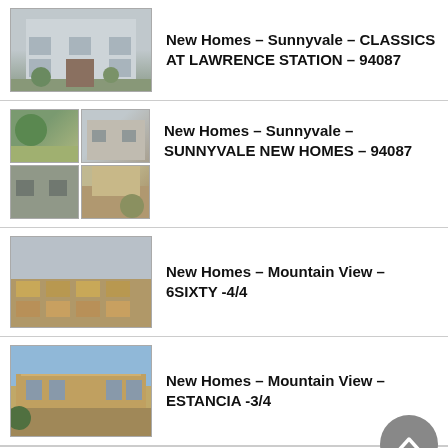New Homes – Sunnyvale – CLASSICS AT LAWRENCE STATION – 94087
New Homes – Sunnyvale – SUNNYVALE NEW HOMES – 94087
New Homes – Mountain View – 6SIXTY -4/4
New Homes – Mountain View – ESTANCIA -3/4
New Homes – Mountain View – Classics At Permanente Creek -2/4